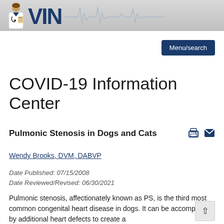VIN logo with ECG line graphic
Menu/search
COVID-19 Information Center
Pulmonic Stenosis in Dogs and Cats
Wendy Brooks, DVM, DABVP
Date Published: 07/15/2008
Date Reviewed/Revised: 06/30/2021
Pulmonic stenosis, affectionately known as PS, is the third most common congenital heart disease in dogs. It can be accompanied by additional heart defects to create a